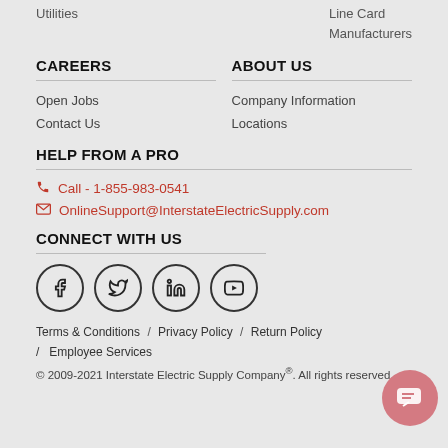Utilities
Line Card
Manufacturers
CAREERS
Open Jobs
Contact Us
ABOUT US
Company Information
Locations
HELP FROM A PRO
Call - 1-855-983-0541
OnlineSupport@InterstateElectricSupply.com
CONNECT WITH US
[Figure (illustration): Social media icons: Facebook, Twitter, LinkedIn, YouTube circles]
Terms & Conditions / Privacy Policy / Return Policy / Employee Services
© 2009-2021 Interstate Electric Supply Company®. All rights reserved.